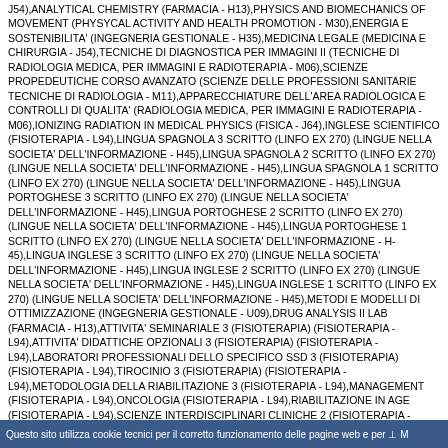J54),ANALYTICAL CHEMISTRY (FARMACIA - H13),PHYSICS AND BIOMECHANICS OF MOVEMENT (PHYSYCAL ACTIVITY AND HEALTH PROMOTION - M30),ENERGIA E SOSTENIBILITA' (INGEGNERIA GESTIONALE - H35),MEDICINA LEGALE (MEDICINA E CHIRURGIA - J54),TECNICHE DI DIAGNOSTICA PER IMMAGINI II (TECNICHE DI RADIOLOGIA MEDICA, PER IMMAGINI E RADIOTERAPIA - M06),SCIENZE PROPEDEUTICHE CORSO AVANZATO (SCIENZE DELLE PROFESSIONI SANITARIE TECNICHE DI RADIOLOGIA - M11),APPARECCHIATURE DELL'AREA RADIOLOGICA E CONTROLLI DI QUALITA' (RADIOLOGIA MEDICA, PER IMMAGINI E RADIOTERAPIA - M06),IONIZING RADIATION IN MEDICAL PHYSICS (FISICA - J64),INGLESE SCIENTIFICO (FISIOTERAPIA - L94),LINGUA SPAGNOLA 3 SCRITTO (LINFO EX 270) (LINGUE NELLA SOCIETA' DELL'INFORMAZIONE - H45),LINGUA SPAGNOLA 2 SCRITTO (LINFO EX 270) (LINGUE NELLA SOCIETA' DELL'INFORMAZIONE - H45),LINGUA SPAGNOLA 1 SCRITTO (LINFO EX 270) (LINGUE NELLA SOCIETA' DELL'INFORMAZIONE - H45),LINGUA PORTOGHESE 3 SCRITTO (LINFO EX 270) (LINGUE NELLA SOCIETA' DELL'INFORMAZIONE - H45),LINGUA PORTOGHESE 2 SCRITTO (LINFO EX 270) (LINGUE NELLA SOCIETA' DELL'INFORMAZIONE - H45),LINGUA PORTOGHESE 1 SCRITTO (LINFO EX 270) (LINGUE NELLA SOCIETA' DELL'INFORMAZIONE - H45),LINGUA INGLESE 3 SCRITTO (LINFO EX 270) (LINGUE NELLA SOCIETA' DELL'INFORMAZIONE - H45),LINGUA INGLESE 2 SCRITTO (LINFO EX 270) (LINGUE NELLA SOCIETA' DELL'INFORMAZIONE - H45),LINGUA INGLESE 1 SCRITTO (LINFO EX 270) (LINGUE NELLA SOCIETA' DELL'INFORMAZIONE - H45),METODI E MODELLI DI OTTIMIZZAZIONE (INGEGNERIA GESTIONALE - U09),DRUG ANALYSIS II LAB (FARMACIA - H13),ATTIVITA' SEMINARIALE 3 (FISIOTERAPIA) (FISIOTERAPIA - L94),ATTIVITA' DIDATTICHE OPZIONALI 3 (FISIOTERAPIA) (FISIOTERAPIA - L94),LABORATORI PROFESSIONALI DELLO SPECIFICO SSD 3 (FISIOTERAPIA) (FISIOTERAPIA - L94),TIROCINIO 3 (FISIOTERAPIA) (FISIOTERAPIA - L94),METODOLOGIA DELLA RIABILITAZIONE 3 (FISIOTERAPIA - L94),MANAGEMENT (FISIOTERAPIA - L94),ONCOLOGIA (FISIOTERAPIA - L94),RIABILITAZIONE IN AGE (FISIOTERAPIA - L94),SCIENZE INTERDISCIPLINARI CLINICHE 2 (FISIOTERAPIA - L94),ATTIVITA' DIDATTICHE OPZIONALI 2 (FISIOTERAPIA) (FISIOTERAPIA - L94),LABORATORI PROFESSIONALI DELLO SPECIFICO SSD 2 (FISIOTERAPIA) (FISIOTERAPIA - L94),ATTIVITA' SEMINARIALE 2 (FISIOTERAPIA) (FISIOTERAPIA - L94),TIROCINIO 2 (FISIOTERAPIA) (FISIOTERAPIA - L94),GERIATRIA (FISIOTERAPIA - L94),METODOLOGIA DELLA RIABILITAZIONE 2 (FISIOTERAPIA - L94),ANATOMIA II (MEDICINA E CHIRURGIA - J54),HUMAN ANATOMY I (MEDICINE AND SURGERY - N39),SCIENZE CLINICHE PEDIATRICHE (FISIOTERAPIA - L94),FARMACOLOGIA E SCIENZE NEUROPSICHIATRICHE (FISIOTERAPIA - L94),HUMAN ANATOMY II (MEDICINA E CHIRURGIA (MEDICINE AND SURGERY) - N39),ATTIVITA' SEMINARIALE 1 (FISIOTERAPIA) (FISIOTERAPIA - L94),ANATOMIA I (MEDICINA E CHIRURGIA - J54)
Questo sito utilizza cookie tecnici per il corretto funzionamento delle pagine web e per ⊥ M